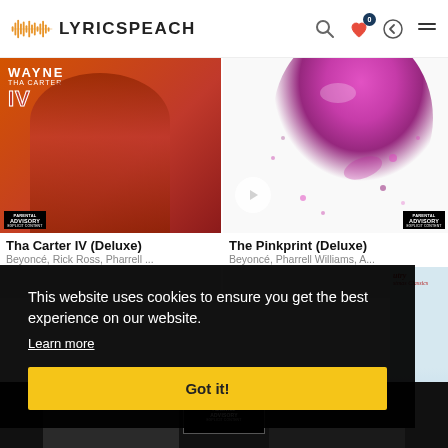LYRICSPEACH
[Figure (illustration): Album cover for Tha Carter IV (Deluxe) showing a young boy in a red suit with bow tie, with Wayne Tha Carter IV text]
[Figure (illustration): Album cover for The Pinkprint (Deluxe) showing pink glitter/powder splash on white background]
Tha Carter IV (Deluxe)
Beyoncé, Rick Ross, Pharrell ...
The Pinkprint (Deluxe)
Beyoncé, Pharrell Williams, A...
This website uses cookies to ensure you get the best experience on our website.
Learn more
Got it!